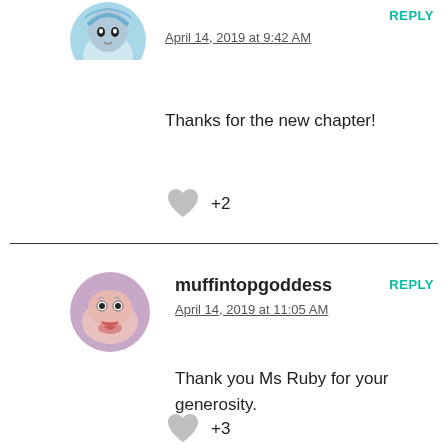[Figure (photo): Circular avatar of an anime character with teal hair, partially visible at top-left]
April 14, 2019 at 9:42 AM
REPLY
Thanks for the new chapter!
+2
muffintopgoddess
April 14, 2019 at 11:05 AM
REPLY
Thank you Ms Ruby for your generosity.
+3